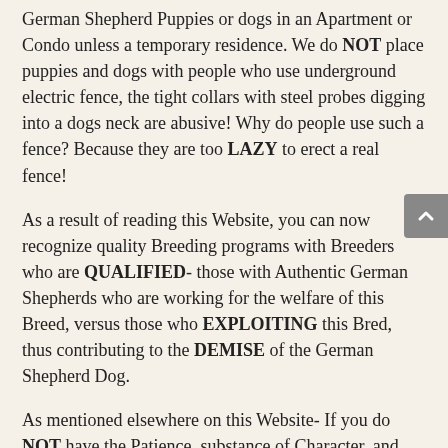German Shepherd Puppies or dogs in an Apartment or Condo unless a temporary residence. We do NOT place puppies and dogs with people who use underground electric fence, the tight collars with steel probes digging into a dogs neck are abusive! Why do people use such a fence? Because they are too LAZY to erect a real fence!
As a result of reading this Website, you can now recognize quality Breeding programs with Breeders who are QUALIFIED- those with Authentic German Shepherds who are working for the welfare of this Breed, versus those who EXPLOITING this Bred, thus contributing to the DEMISE of the German Shepherd Dog.
As mentioned elsewhere on this Website- If you do NOT have the Patience, substance of Character, and RESPECT for the German Shepherd Breed to support a quality Breeder